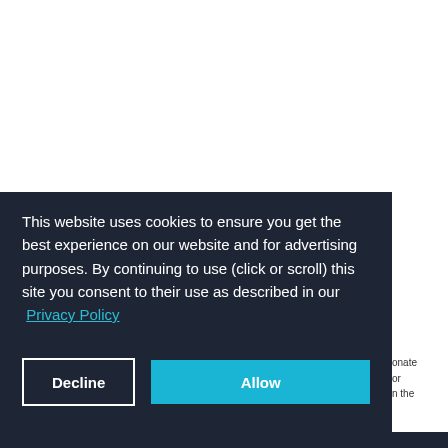This website uses cookies to ensure you get the best experience on our website and for advertising purposes. By continuing to use (click or scroll) this site you consent to their use as described in our Privacy Policy
Decline
Allow